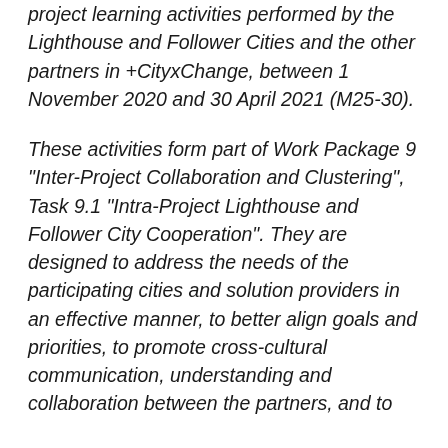project learning activities performed by the Lighthouse and Follower Cities and the other partners in +CityxChange, between 1 November 2020 and 30 April 2021 (M25-30).
These activities form part of Work Package 9 "Inter-Project Collaboration and Clustering", Task 9.1 "Intra-Project Lighthouse and Follower City Cooperation". They are designed to address the needs of the participating cities and solution providers in an effective manner, to better align goals and priorities, to promote cross-cultural communication, understanding and collaboration between the partners, and to